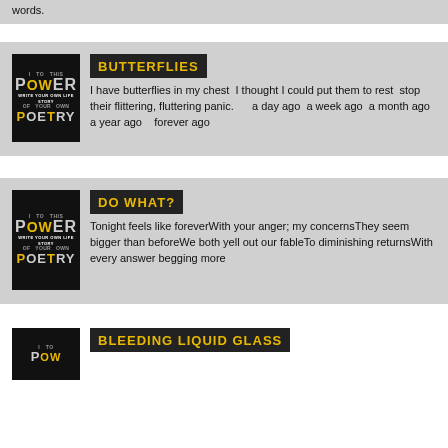words.
BUTTERFLIES
I have butterflies in my chest  I thought I could put them to rest  stop their flittering, fluttering panic.      a day ago  a week ago  a month ago  a year ago    forever ago
DO WHAT?
Tonight feels like foreverWith your anger; my concernsThey seem bigger than beforeWe both yell out our fableTo diminishing returnsWith every answer begging more
BLEEDING LIQUID GLASS